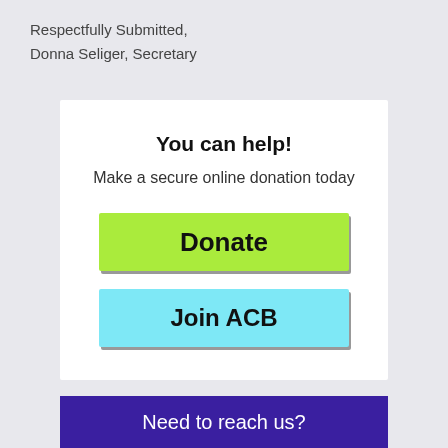Respectfully Submitted,
Donna Seliger, Secretary
You can help!
Make a secure online donation today
Donate
Join ACB
Need to reach us?
Call Toll-free (800) 424-8666
or (202) 467-5081 local